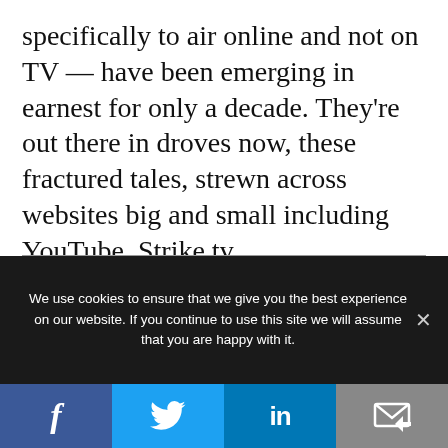specifically to air online and not on TV — have been emerging in earnest for only a decade. They're out there in droves now, these fractured tales, strewn across websites big and small including YouTube, Strike.tv, Mydamnchannel.com and network sites. They can be low-budget affairs from unknown producers, and they can be the pet projects of established folks.
We use cookies to ensure that we give you the best experience on our website. If you continue to use this site we will assume that you are happy with it.
[Figure (other): Social share bar with Facebook, Twitter, LinkedIn, and email buttons]